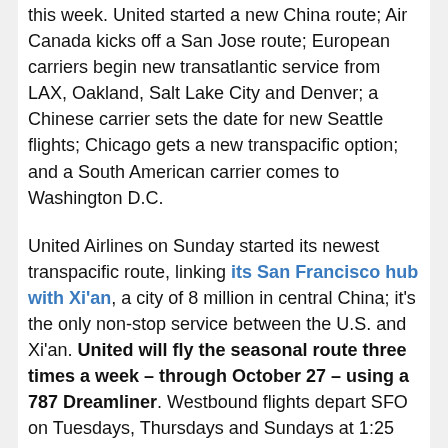this week. United started a new China route; Air Canada kicks off a San Jose route; European carriers begin new transatlantic service from LAX, Oakland, Salt Lake City and Denver; a Chinese carrier sets the date for new Seattle flights; Chicago gets a new transpacific option; and a South American carrier comes to Washington D.C.
United Airlines on Sunday started its newest transpacific route, linking its San Francisco hub with Xi'an, a city of 8 million in central China; it's the only non-stop service between the U.S. and Xi'an. United will fly the seasonal route three times a week – through October 27 – using a 787 Dreamliner. Westbound flights depart SFO on Tuesdays, Thursdays and Sundays at 1:25 p.m. The westbound flight takes a little over 13 hours.
Low-cost European carrier Norwegian is set to begin its previously announced Oakland-London Gatwick service on May 12. The carrier will use a 787-8 with economy and